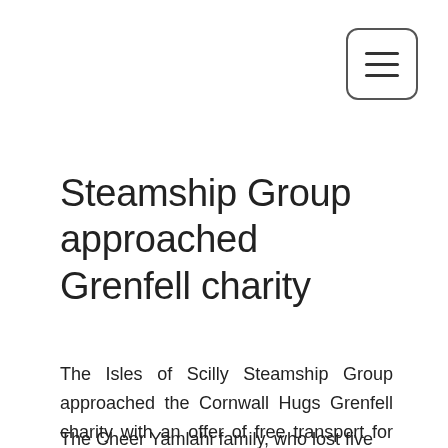[Figure (other): Hamburger menu button icon — three horizontal lines inside a rounded rectangle border]
Steamship Group approached Grenfell charity
The Isles of Scilly Steamship Group approached the Cornwall Hugs Grenfell charity with an offer of free transport for people affected by the fire.
The Cheer Yamlahi family, who lost five